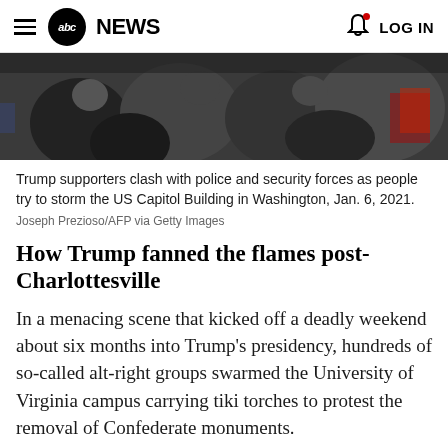abc NEWS  LOG IN
[Figure (photo): Crowd scene showing Trump supporters clashing with police and security forces at the US Capitol]
Trump supporters clash with police and security forces as people try to storm the US Capitol Building in Washington, Jan. 6, 2021.
Joseph Prezioso/AFP via Getty Images
How Trump fanned the flames post-Charlottesville
In a menacing scene that kicked off a deadly weekend about six months into Trump's presidency, hundreds of so-called alt-right groups swarmed the University of Virginia campus carrying tiki torches to protest the removal of Confederate monuments.